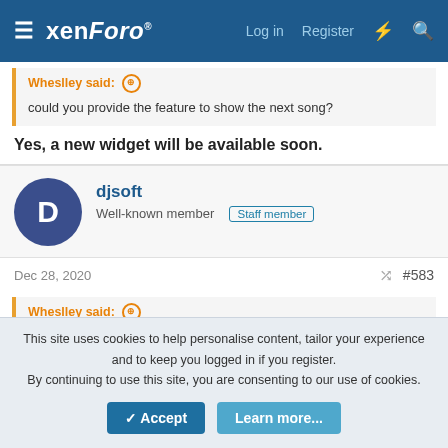xenForo — Log in | Register
Wheslley said: ↑
could you provide the feature to show the next song?
Yes, a new widget will be available soon.
djsoft
Well-known member  Staff member
Dec 28, 2020  #583
Wheslley said: ↑
I always come across this error when paying for folders or files, they posted here saying it was resolved but I can't delete it.
This site uses cookies to help personalise content, tailor your experience and to keep you logged in if you register.
By continuing to use this site, you are consenting to our use of cookies.
✓ Accept    Learn more...